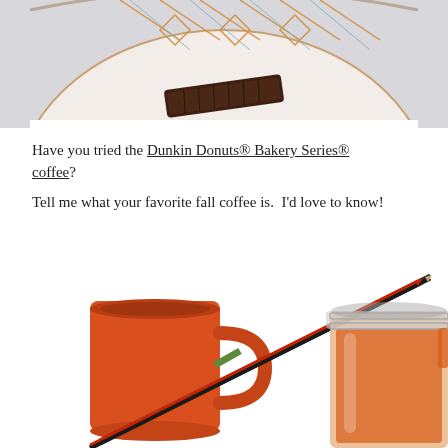[Figure (photo): Top portion of a decorative white and orange patterned bowl/cup with a dark chocolate cookie resting on it, on a light gray background.]
Have you tried the Dunkin Donuts® Bakery Series® coffee? Tell me what your favorite fall coffee is. I'd love to know!
[Figure (photo): An orange ceramic coffee mug with two pencils (one red, one black/green) resting across the top, and a clear glass mason jar filled with orange-colored liquid, on a white background.]